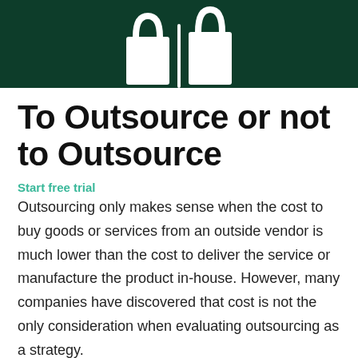[Figure (logo): White shopping bag icon on dark green background header]
To Outsource or not to Outsource
Start free trial
Outsourcing only makes sense when the cost to buy goods or services from an outside vendor is much lower than the cost to deliver the service or manufacture the product in-house. However, many companies have discovered that cost is not the only consideration when evaluating outsourcing as a strategy.